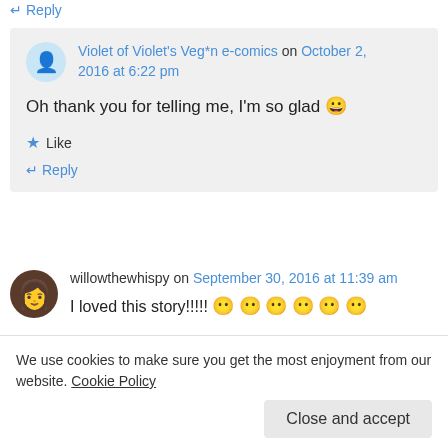↵ Reply
Violet of Violet's Veg*n e-comics on October 2, 2016 at 6:22 pm
Oh thank you for telling me, I'm so glad 😀
★ Like
↵ Reply
willowthewhispy on September 30, 2016 at 11:39 am
I loved this story!!!!! 😶 😶 😶 😶 😶 😶
We use cookies to make sure you get the most enjoyment from our website. Cookie Policy
Close and accept